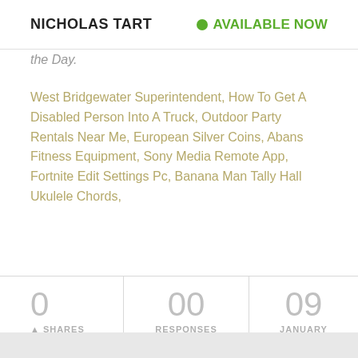NICHOLAS TART | AVAILABLE NOW
the Day.
West Bridgewater Superintendent, How To Get A Disabled Person Into A Truck, Outdoor Party Rentals Near Me, European Silver Coins, Abans Fitness Equipment, Sony Media Remote App, Fortnite Edit Settings Pc, Banana Man Tally Hall Ukulele Chords,
0 SHARES | 00 RESPONSES | 09 JANUARY